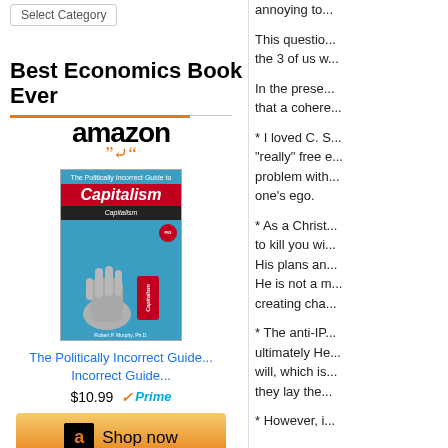Select Category
Best Economics Book Ever
[Figure (other): Amazon product widget showing book 'The Politically Incorrect Guide to Capitalism' with Shop now button]
The Politically Incorrect Guide...
$10.99  Prime
Best Economic History Book Ever
[Figure (logo): Amazon logo]
annoying to...
This questio... the 3 of us w...
In the prese... that a cohere...
* I loved C. S... "really" free e... problem with... one's ego.
* As a Christ... to kill you wi... His plans an... He is not a m... creating cha...
* The anti-IP... ultimately He... will, which is... they lay the...
* However, i...